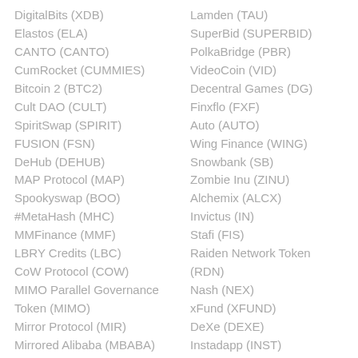DigitalBits (XDB)
Elastos (ELA)
CANTO (CANTO)
CumRocket (CUMMIES)
Bitcoin 2 (BTC2)
Cult DAO (CULT)
SpiritSwap (SPIRIT)
FUSION (FSN)
DeHub (DEHUB)
MAP Protocol (MAP)
Spookyswap (BOO)
#MetaHash (MHC)
MMFinance (MMF)
LBRY Credits (LBC)
CoW Protocol (COW)
MIMO Parallel Governance Token (MIMO)
Mirror Protocol (MIR)
Mirrored Alibaba (MBABA)
Lamden (TAU)
SuperBid (SUPERBID)
PolkaBridge (PBR)
VideoCoin (VID)
Decentral Games (DG)
Finxflo (FXF)
Auto (AUTO)
Wing Finance (WING)
Snowbank (SB)
Zombie Inu (ZINU)
Alchemix (ALCX)
Invictus (IN)
Stafi (FIS)
Raiden Network Token (RDN)
Nash (NEX)
xFund (XFUND)
DeXe (DEXE)
Instadapp (INST)